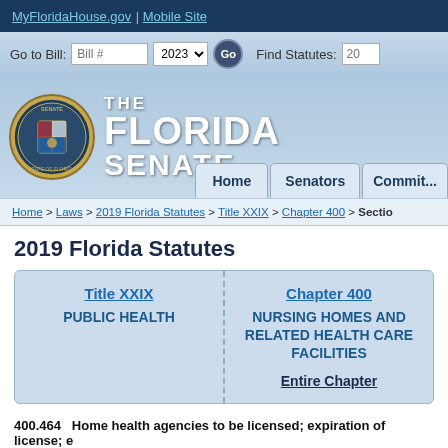MyFloridaHouse.gov | Mobile Site
[Figure (screenshot): Florida Senate website header with logo, navigation bar with Home, Senators, Committees tabs, and search fields for Bill # and Find Statutes]
Home > Laws > 2019 Florida Statutes > Title XXIX > Chapter 400 > Section
2019 Florida Statutes
| Title | Chapter |
| --- | --- |
| Title XXIX
PUBLIC HEALTH | Chapter 400
NURSING HOMES AND RELATED HEALTH CARE FACILITIES
Entire Chapter |
400.464   Home health agencies to be licensed; expiration of license; e
(1)    The requirements of part II of chapter 408 apply to the provision of s this part and part II of chapter 408 and entities licensed or registered by or ap